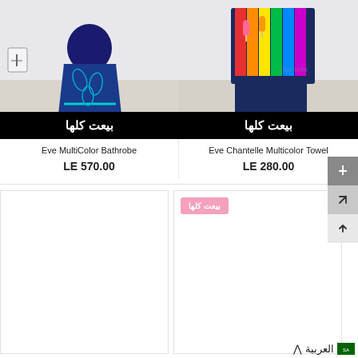[Figure (photo): Eve MultiColor Bathrobe product photo with sold-out overlay (بيعت كلها) in black banner]
[Figure (photo): Eve Chantelle Multicolor Towel product photo with sold-out overlay (بيعت كلها) in black banner]
Eve MultiColor Bathrobe
LE 570.00
Eve Chantelle Multicolor Towel
LE 280.00
[Figure (photo): Empty product card placeholder (white)]
[Figure (photo): Second row right product with pink sold-out label (بيعت كلها)]
العربية